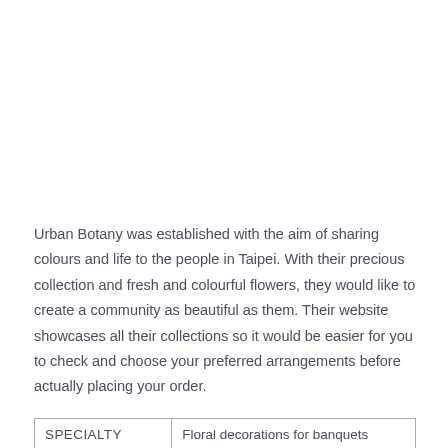Urban Botany was established with the aim of sharing colours and life to the people in Taipei. With their precious collection and fresh and colourful flowers, they would like to create a community as beautiful as them. Their website showcases all their collections so it would be easier for you to check and choose your preferred arrangements before actually placing your order.
| SPECIALTY | Floral decorations for banquets |